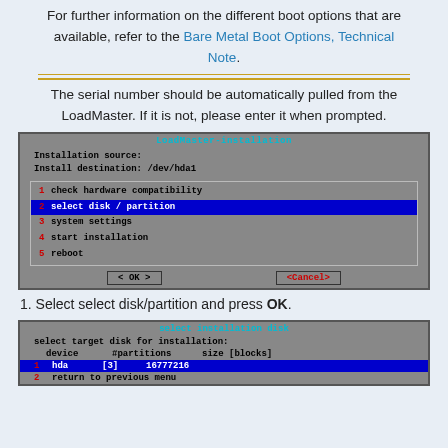For further information on the different boot options that are available, refer to the Bare Metal Boot Options, Technical Note.
[Figure (screenshot): LoadMaster-installation terminal dialog showing Installation source, Install destination /dev/hda1, and a menu with: 1 check hardware compatibility, 2 select disk / partition (highlighted), 3 system settings, 4 start installation, 5 reboot. Buttons: OK and Cancel.]
The serial number should be automatically pulled from the LoadMaster. If it is not, please enter it when prompted.
1. Select select disk/partition and press OK.
[Figure (screenshot): select installation disk terminal showing: select target disk for installation, device #partitions size [blocks], hda [3] 16777216 (highlighted), return to previous menu.]